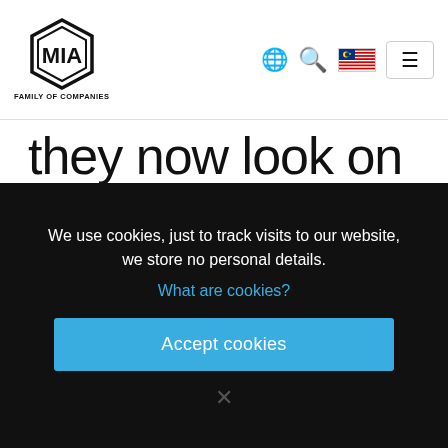[Figure (logo): MIA Family of Companies hexagonal logo with globe, search, Malaysia flag, and hamburger menu icons in navigation header]
they now look on the murder of men.”
Attributed to Leonardo da
We use cookies, just to track visits to our website, we store no personal details.
What are cookies?
Accept cookies